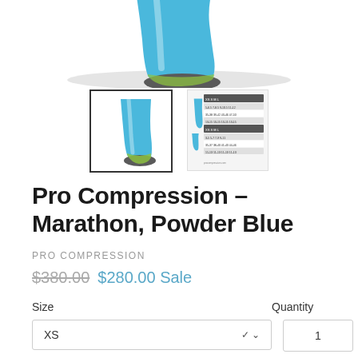[Figure (photo): Top portion of a blue compression sock/stocking with gray sole, partially cropped at top of page, with shadow beneath]
[Figure (photo): Thumbnail: blue compression sock shown full length on white background, inside a black border box (selected)]
[Figure (table-as-image): Thumbnail: size chart table image with rows of measurements in small text on dark/light striped background]
Pro Compression - Marathon, Powder Blue
PRO COMPRESSION
$380.00  $280.00 Sale
Size
Quantity
XS
1